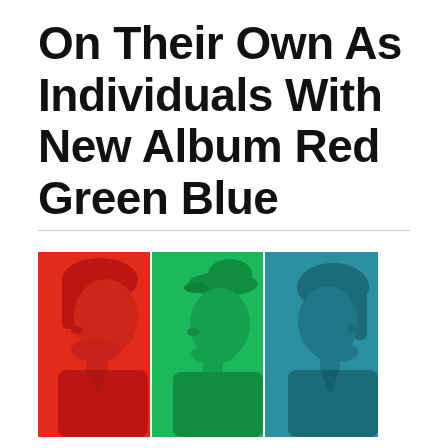On Their Own As Individuals With New Album Red Green Blue
[Figure (illustration): Album art showing three stylized portrait illustrations of band members side by side, each with a solid color background: red (left), green (center), teal/blue (right). Each figure is shown in profile or three-quarter view with duotone coloring matching their panel color.]